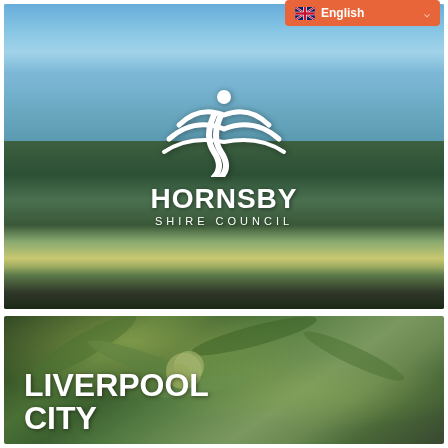[Figure (screenshot): Language selector bar showing English flag and text on orange background]
[Figure (photo): Hornsby Shire Council banner image showing aerial gorge/river landscape with the Hornsby Shire Council white logo and name overlay]
[Figure (photo): Liverpool City Council banner image showing close-up of eucalyptus leaves and flowers with bold white LIVERPOOL CITY text overlay]